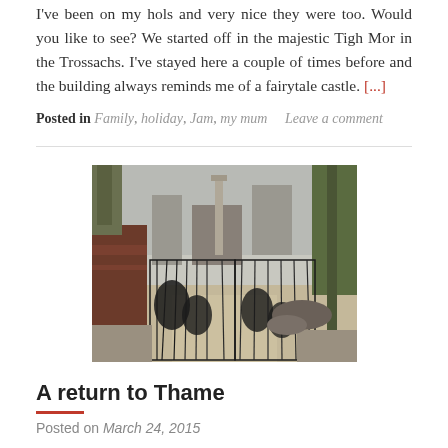I've been on my hols and very nice they were too. Would you like to see? We started off in the majestic Tigh Mor in the Trossachs. I've stayed here a couple of times before and the building always reminds me of a fairytale castle. [...]
Posted in Family, holiday, Jam, my mum    Leave a comment
[Figure (photo): Outdoor photo of a garden or salvage yard with ornate iron gates in the foreground, stone sculptures and architectural elements in the background, trees visible against an overcast sky.]
A return to Thame
Posted on March 24, 2015